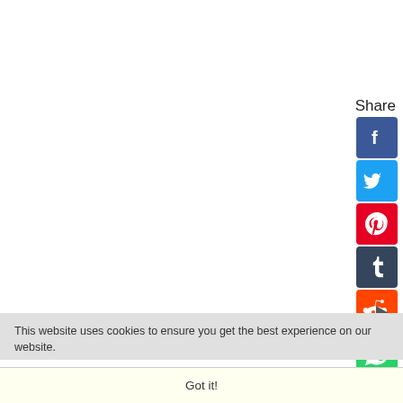Share
[Figure (illustration): Vertical stack of social media share buttons: Facebook (blue), Twitter (light blue), Pinterest (red), Tumblr (dark blue-grey), Reddit (orange), WhatsApp (green), Facebook Messenger (blue circle)]
[Figure (other): Play button triangle icon]
This website uses cookies to ensure you get the best experience on our website.
Got it!